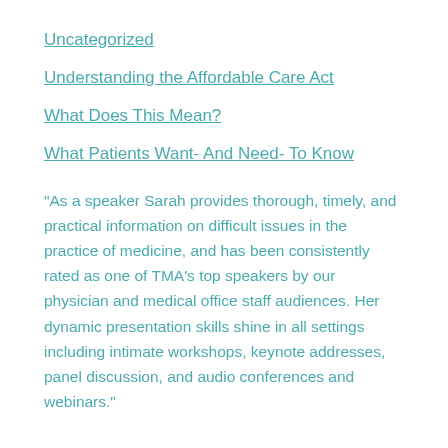Uncategorized
Understanding the Affordable Care Act
What Does This Mean?
What Patients Want- And Need- To Know
"As a speaker Sarah provides thorough, timely, and practical information on difficult issues in the practice of medicine, and has been consistently rated as one of TMA's top speakers by our physician and medical office staff audiences. Her dynamic presentation skills shine in all settings including intimate workshops, keynote addresses, panel discussion, and audio conferences and webinars."